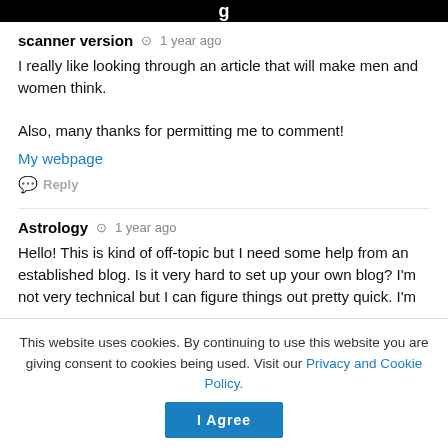scanner version  ⊙  1 year ago
I really like looking through an article that will make men and women think.

Also, many thanks for permitting me to comment!
My webpage
Reply
Astrology  ⊙  1 year ago
Hello! This is kind of off-topic but I need some help from an established blog. Is it very hard to set up your own blog? I'm not very technical but I can figure things out pretty quick. I'm
This website uses cookies. By continuing to use this website you are giving consent to cookies being used. Visit our Privacy and Cookie Policy.